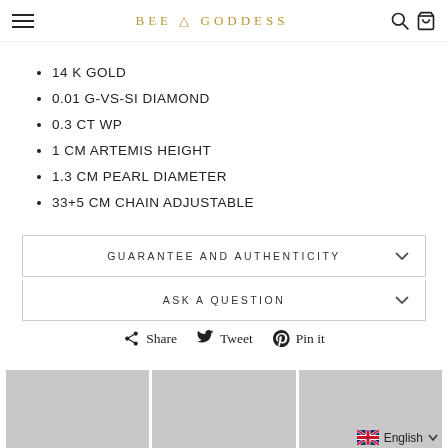BEE & GODDESS
14 K GOLD
0.01 G-VS-SI DIAMOND
0.3 CT WP
1 CM ARTEMIS HEIGHT
1.3 CM PEARL DIAMETER
33+5 CM CHAIN ADJUSTABLE
GUARANTEE AND AUTHENTICITY
ASK A QUESTION
Share  Tweet  Pin it
[Figure (photo): Three grayscale product/model photos at bottom of page]
English